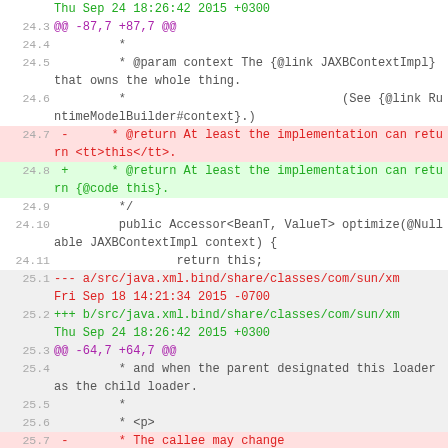Thu Sep 24 18:26:42 2015 +0300
24.3 @@ -87,7 +87,7 @@
24.4          *
24.5          * @param context The {@link JAXBContextImpl} that owns the whole thing.
24.6          *                              (See {@link RuntimeModelBuilder#context}.)
24.7  -      * @return At least the implementation can return <tt>this</tt>.
24.8  +      * @return At least the implementation can return {@code this}.
24.9          */
24.10         public Accessor<BeanT, ValueT> optimize(@Nullable JAXBContextImpl context) {
24.11                 return this;
25.1  --- a/src/java.xml.bind/share/classes/com/sun/xm
Fri Sep 18 14:21:34 2015 -0700
25.2  +++ b/src/java.xml.bind/share/classes/com/sun/xm
Thu Sep 24 18:26:42 2015 +0300
25.3  @@ -64,7 +64,7 @@
25.4          * and when the parent designated this loader as the child loader.
25.5          *
25.6          * <p>
25.7  -       * The callee may change